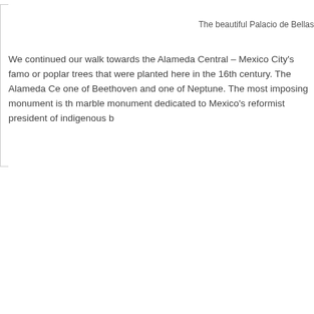The beautiful Palacio de Bellas
We continued our walk towards the Alameda Central – Mexico City's famo or poplar trees that were planted here in the 16th century. The Alameda Ce one of Beethoven and one of Neptune. The most imposing monument is th marble monument dedicated to Mexico's reformist president of indigenous b